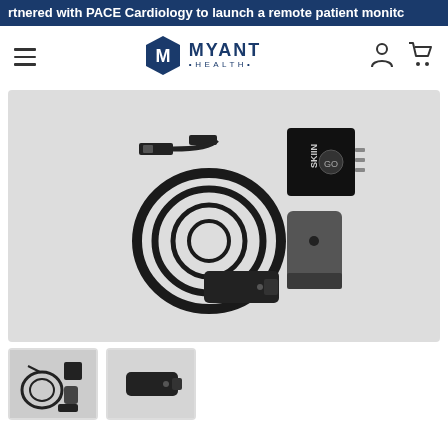rtnered with PACE Cardiology to launch a remote patient monitc
[Figure (logo): Myant Health logo with hexagon M icon and text MYANT HEALTH]
[Figure (photo): Product photo showing Myant Health wearable device kit: USB cable, sensor module labeled SKIN, wristband device, and clip dongle, all in black, on light gray background]
[Figure (photo): Thumbnail 1: full kit overhead view showing cable, sensor, and components]
[Figure (photo): Thumbnail 2: close-up of clip/dongle device]